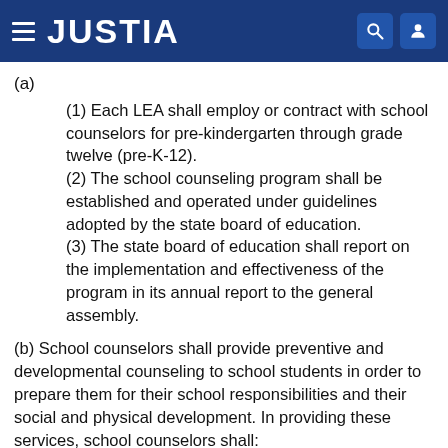JUSTIA
(a)
(1) Each LEA shall employ or contract with school counselors for pre-kindergarten through grade twelve (pre-K-12).
(2) The school counseling program shall be established and operated under guidelines adopted by the state board of education.
(3) The state board of education shall report on the implementation and effectiveness of the program in its annual report to the general assembly.
(b) School counselors shall provide preventive and developmental counseling to school students in order to prepare them for their school responsibilities and their social and physical development. In providing these services, school counselors shall: